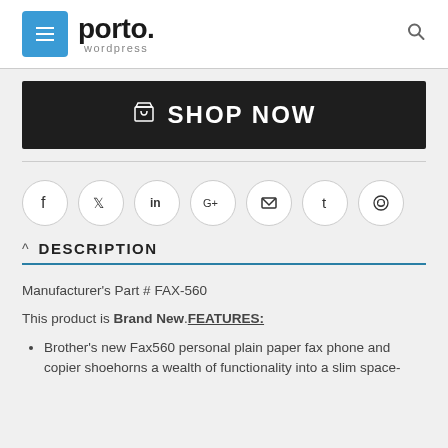porto wordpress
[Figure (logo): Porto WordPress logo with blue hamburger menu button and search icon]
[Figure (infographic): Dark banner with shopping bag icon and SHOP NOW text]
[Figure (infographic): Social media icon row: Facebook, Twitter, LinkedIn, Google+, Email, Tumblr, Reddit]
DESCRIPTION
Manufacturer's Part # FAX-560
This product is Brand New.FEATURES:
Brother's new Fax560 personal plain paper fax phone and copier shoehorns a wealth of functionality into a slim space-